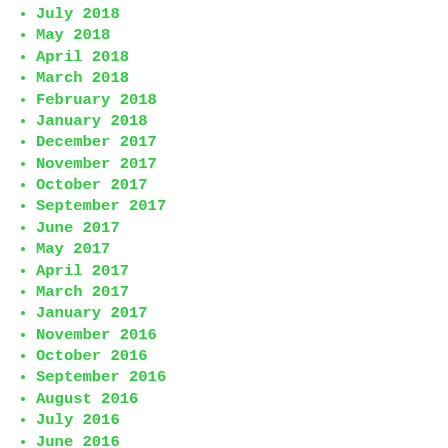July 2018
May 2018
April 2018
March 2018
February 2018
January 2018
December 2017
November 2017
October 2017
September 2017
June 2017
May 2017
April 2017
March 2017
January 2017
November 2016
October 2016
September 2016
August 2016
July 2016
June 2016
May 2016
April 2016
March 2016
February 2016